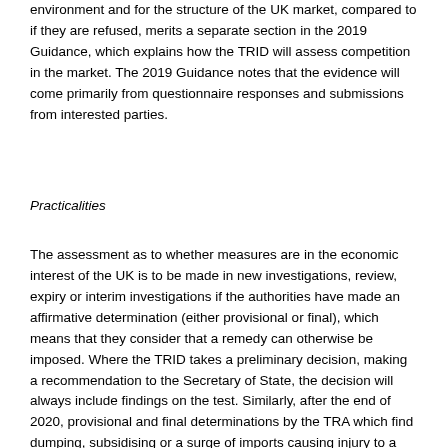environment and for the structure of the UK market, compared to if they are refused, merits a separate section in the 2019 Guidance, which explains how the TRID will assess competition in the market. The 2019 Guidance notes that the evidence will come primarily from questionnaire responses and submissions from interested parties.
Practicalities
The assessment as to whether measures are in the economic interest of the UK is to be made in new investigations, review, expiry or interim investigations if the authorities have made an affirmative determination (either provisional or final), which means that they consider that a remedy can otherwise be imposed. Where the TRID takes a preliminary decision, making a recommendation to the Secretary of State, the decision will always include findings on the test. Similarly, after the end of 2020, provisional and final determinations by the TRA which find dumping, subsidising or a surge of imports causing injury to a UK industry to have taken place, will be